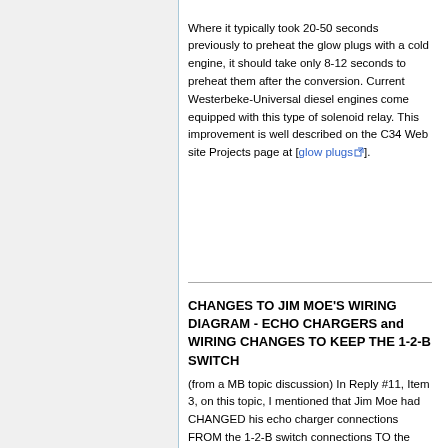Where it typically took 20-50 seconds previously to preheat the glow plugs with a cold engine, it should take only 8-12 seconds to preheat them after the conversion. Current Westerbeke-Universal diesel engines come equipped with this type of solenoid relay. This improvement is well described on the C34 Web site Projects page at [glow plugs].
CHANGES TO JIM MOE'S WIRING DIAGRAM - ECHO CHARGERS and WIRING CHANGES TO KEEP THE 1-2-B SWITCH
(from a MB topic discussion) In Reply #11, Item 3, on this topic, I mentioned that Jim Moe had CHANGED his echo charger connections FROM the 1-2-B switch connections TO the bank (+)